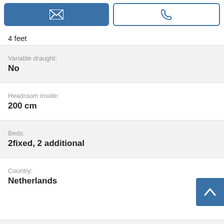[Figure (infographic): Two buttons: a filled blue email/envelope button and an outlined phone button]
4 feet
Variable draught:
No
Headroom inside:
200 cm
Beds:
2fixed, 2 additional
Country:
Netherlands